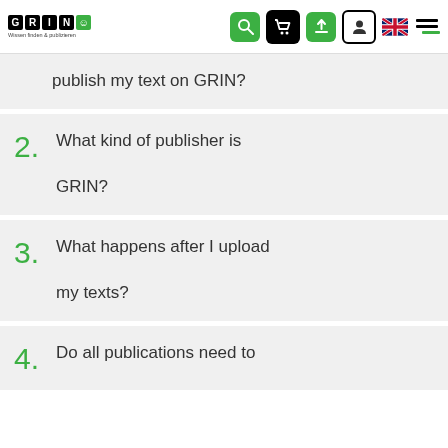GRIN - Wissen finden & publizieren (navigation header with search, cart, upload, account, language, menu icons)
publish my text on GRIN?
2. What kind of publisher is GRIN?
3. What happens after I upload my texts?
4. Do all publications need to